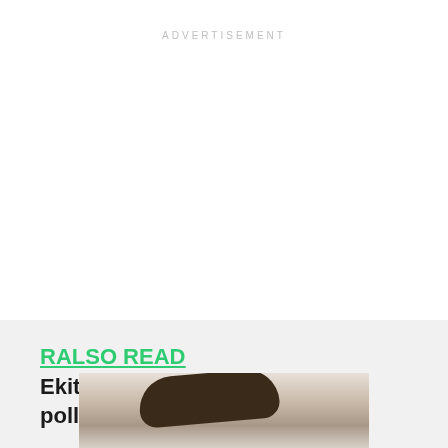ADVERTISEMENT
RALSO READ  Ekiti: Electoral materials arrive polling units
[Figure (photo): Partial photo of a person at the bottom of the page]